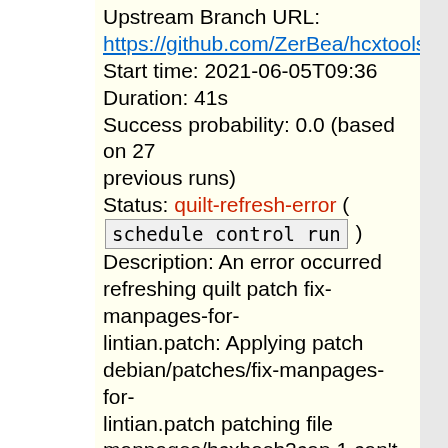Upstream Branch URL: https://github.com/ZerBea/hcxtools.git/,branch...
Start time: 2021-06-05T09:36
Duration: 41s
Success probability: 0.0 (based on 27 previous runs)
Status: quilt-refresh-error ( schedule control run )
Description: An error occurred refreshing quilt patch fix-manpages-for-lintian.patch: Applying patch debian/patches/fix-manpages-for-lintian.patch patching file manpages/hcxhash2cap.1 can't find file to patch at input line 27 Perhaps you used the wrong -p or --strip option? The text leading up to this was: ------------------------------------ |diff --git a/manpages/hcxpcaptool.1 b/manpages/hcxpcaptool.1 |index f35d07e..76dd27d 100644 |--- a/manpages/hcxpcaptool.1 |+++ b/manpages/hcxpcaptool.1 ----------------